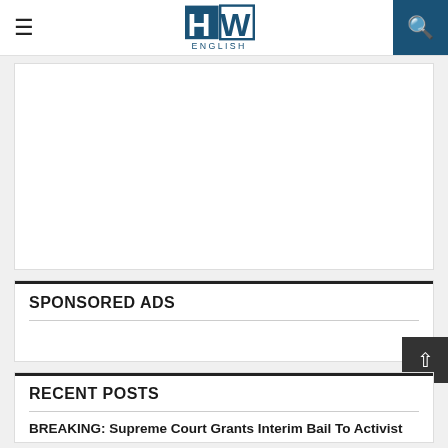HW ENGLISH
[Figure (other): Advertisement placeholder white block]
SPONSORED ADS
RECENT POSTS
BREAKING: Supreme Court Grants Interim Bail To Activist